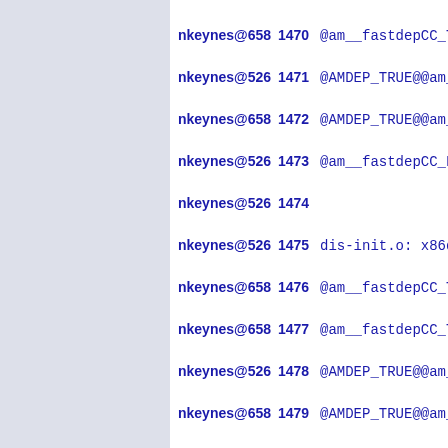nkeynes@658  1470 @am__fastdepCC_TRU
nkeynes@526  1471 @AMDEP_TRUE@@am__f
nkeynes@658  1472 @AMDEP_TRUE@@am__f
nkeynes@526  1473 @am__fastdepCC_FAL
nkeynes@526  1474
nkeynes@526  1475 dis-init.o: x86das
nkeynes@658  1476 @am__fastdepCC_TRU
nkeynes@658  1477 @am__fastdepCC_TRU
nkeynes@526  1478 @AMDEP_TRUE@@am__f
nkeynes@658  1479 @AMDEP_TRUE@@am__f